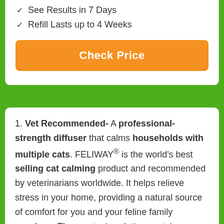✓ See Results in 7 Days
✓ Refill Lasts up to 4 Weeks
Check Price
1. Vet Recommended- A professional-strength diffuser that calms households with multiple cats. FELIWAY® is the world's best selling cat calming product and recommended by veterinarians worldwide. It helps relieve stress in your home, providing a natural source of comfort for you and your feline family members. The non-toxic solution contains Linalool, an organic compound found in lavender essential oil traditionally used to calm anxiety in humans